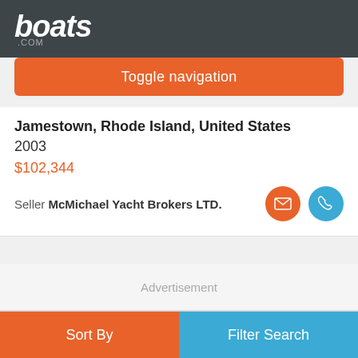boats.com
Toggle navigation
Jamestown, Rhode Island, United States
2003
$102,344
Seller McMichael Yacht Brokers LTD.
Advertisement
Sort By | Filter Search